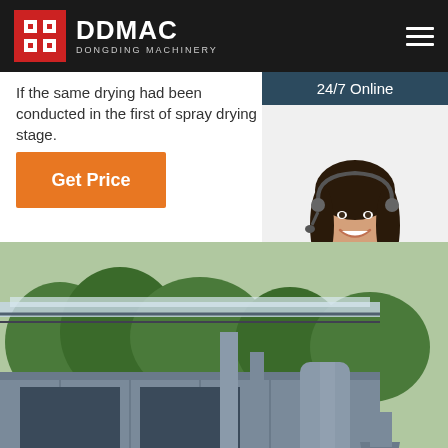DDMAC DONGDING MACHINERY
If the same drying had been conducted in the first of spray drying stage.
Get Price
[Figure (photo): Customer support representative wearing a headset, smiling, with '24/7 Online' header and 'Click here for free chat! QUOTATION' call-to-action panel]
[Figure (photo): Industrial machinery facility showing large metal building with piping, cylindrical tanks, and industrial drying equipment]